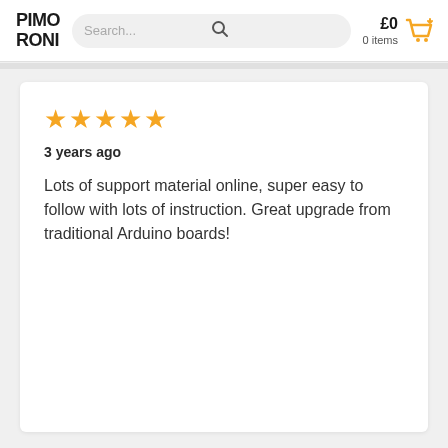PIMORONI | Search... | £0 0 items
★★★★★
3 years ago
Lots of support material online, super easy to follow with lots of instruction. Great upgrade from traditional Arduino boards!